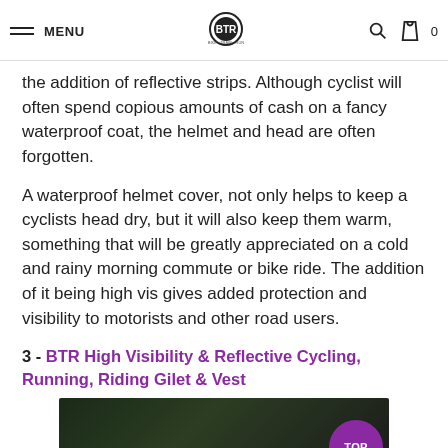MENU | BTR (Bike Train Run) logo | search icon | bag icon 0
the addition of reflective strips. Although cyclist will often spend copious amounts of cash on a fancy waterproof coat, the helmet and head are often forgotten.
A waterproof helmet cover, not only helps to keep a cyclists head dry, but it will also keep them warm, something that will be greatly appreciated on a cold and rainy morning commute or bike ride. The addition of it being high vis gives added protection and visibility to motorists and other road users.
3 - BTR High Visibility & Reflective Cycling, Running, Riding Gilet & Vest
[Figure (photo): Photo of a person wearing a dark reflective cycling gilet/vest outdoors, with a TOP button overlay in the bottom-right corner]